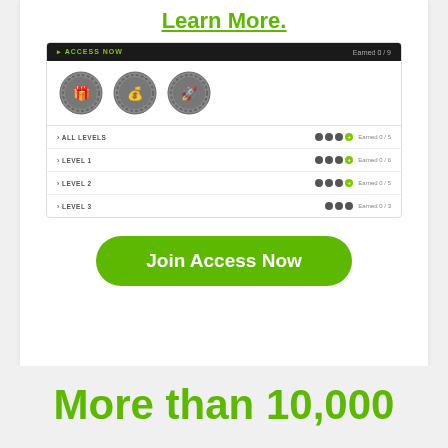Learn More.
[Figure (screenshot): A screenshot of an online course badge/achievement system showing: a black header bar with 'ACCESS NOW' in green and 'Earned 0/9' on the right; three circular badge icons (gift box, money/cash, rocket); rows for ALL LEVELS (Earned 0/5), LEVEL 1 (Earned 0/6), LEVEL 2 (Earned 0/5), LEVEL 3 (Earned 0/3), each with dark dot indicators.]
Join Access Now
More than 10,000